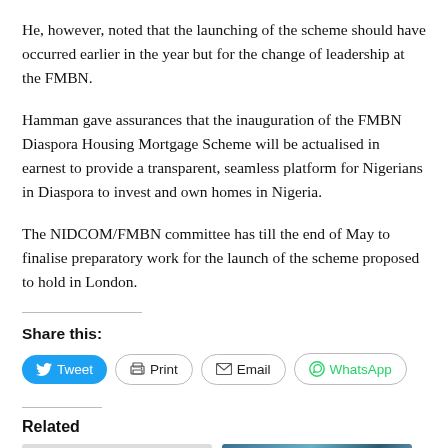He, however, noted that the launching of the scheme should have occurred earlier in the year but for the change of leadership at the FMBN.
Hamman gave assurances that the inauguration of the FMBN Diaspora Housing Mortgage Scheme will be actualised in earnest to provide a transparent, seamless platform for Nigerians in Diaspora to invest and own homes in Nigeria.
The NIDCOM/FMBN committee has till the end of May to finalise preparatory work for the launch of the scheme proposed to hold in London.
Share this:
Related